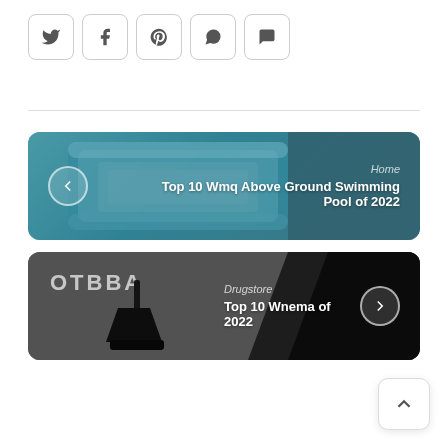[Figure (other): Social sharing buttons row: Twitter, Facebook, Pinterest, WhatsApp, Chat icons in rounded square buttons]
[Figure (other): Navigation card with blue inflatable swimming pool background, back arrow button, category 'Home', title 'Top 10 Wmq Above Ground Swimming Pool of 2022']
Home
Top 10 Wmq Above Ground Swimming Pool of 2022
[Figure (other): Navigation card with dark gray background, OTBBA logo, pump/funnel product image, forward arrow button, category 'Drugstore', title 'Top 10 Wnema of 2022']
Drugstore
Top 10 Wnema of 2022